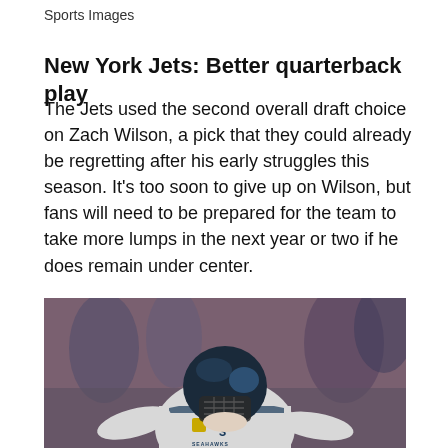Sports Images
New York Jets: Better quarterback play
The Jets used the second overall draft choice on Zach Wilson, a pick that they could already be regretting after his early struggles this season. It's too soon to give up on Wilson, but fans will need to be prepared for the team to take more lumps in the next year or two if he does remain under center.
[Figure (photo): A Seattle Seahawks quarterback wearing a dark helmet and white jersey with number 3, arms outstretched, with a blurred stadium crowd in the background.]